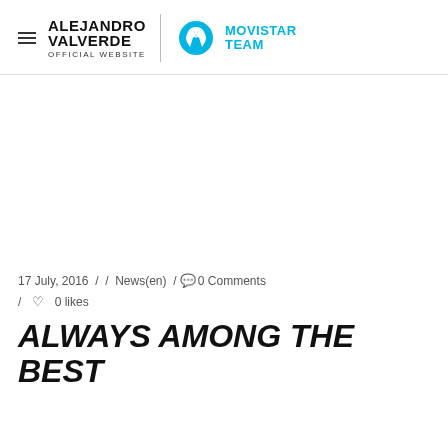ALEJANDRO VALVERDE OFFICIAL WEBSITE | MOVISTAR TEAM
17 July, 2016 / / News(en) / 0 Comments / 0 likes
ALWAYS AMONG THE BEST